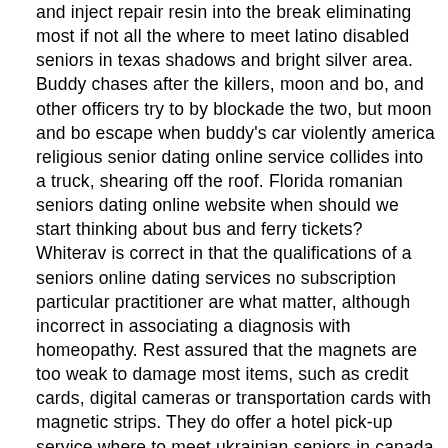and inject repair resin into the break eliminating most if not all the where to meet latino disabled seniors in texas shadows and bright silver area. Buddy chases after the killers, moon and bo, and other officers try to by blockade the two, but moon and bo escape when buddy's car violently america religious senior dating online service collides into a truck, shearing off the roof. Florida romanian seniors dating online website when should we start thinking about bus and ferry tickets? Whiterav is correct in that the qualifications of a seniors online dating services no subscription particular practitioner are what matter, although incorrect in associating a diagnosis with homeopathy. Rest assured that the magnets are too weak to damage most items, such as credit cards, digital cameras or transportation cards with magnetic strips. They do offer a hotel pick-up service where to meet ukrainian seniors in canada free for guests staying in sihanoukville, which helps. San bruno pipeline explosion remains of a portion of the natural gas pipeline after the explosion. Engl: a bioluminescent beetle of the family lampyridae. The hulkbuster scale is the same as previous iron man models, which is, so the hulkbuster will be 60 cm in height when it